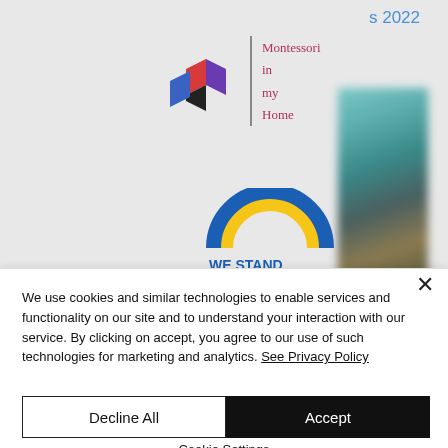s 2022
[Figure (logo): Montessori in my Home logo with colorful 3D blocks icon and text]
[Figure (photo): Blurred vertical image on right side, teal/brown tones]
[Figure (illustration): We Stand With Ukraine banner with blue/yellow rainbow arch and bold blue text, plus red semicircle below]
We use cookies and similar technologies to enable services and functionality on our site and to understand your interaction with our service. By clicking on accept, you agree to our use of such technologies for marketing and analytics. See Privacy Policy
Decline All
Accept
Cookie Settings